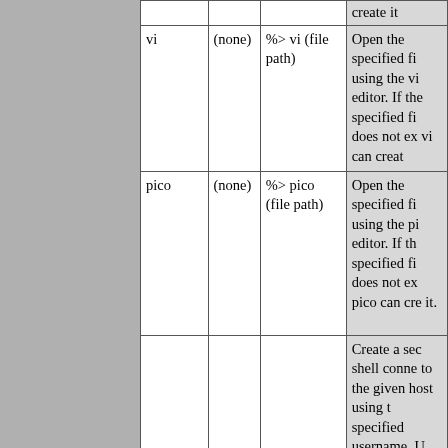| Command | Options | Syntax | Description |
| --- | --- | --- | --- |
|  |  |  | create it |
| vi | (none) | %> vi (file path) | Open the specified file using the vi editor. If the specified file does not exist, vi can creat |
| pico | (none) | %> pico (file path) | Open the specified file using the pico editor. If the specified file does not ex pico can cre it. |
|  |  |  | Create a sec shell conne to the given host using t specified username. U this to login remotely to |